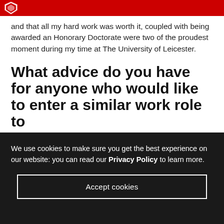University of Leicester logo
and that all my hard work was worth it, coupled with being awarded an Honorary Doctorate were two of the proudest moment during my time at The University of Leicester.
What advice do you have for anyone who would like to enter a similar work role to
We use cookies to make sure you get the best experience on our website: you can read our Privacy Policy to learn more.
Accept cookies